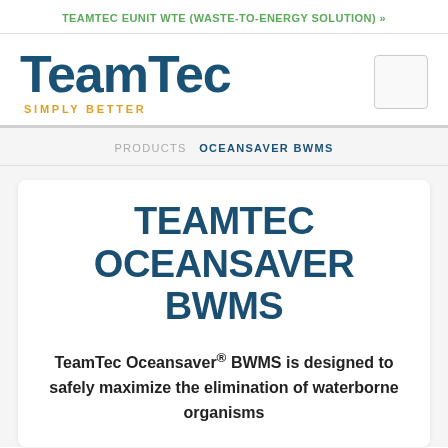TEAMTEC EUNIT WTE (WASTE-TO-ENERGY SOLUTION) »
[Figure (logo): TeamTec logo with tagline SIMPLY BETTER]
PRODUCTS  OCEANSAVER BWMS
TEAMTEC OCEANSAVER BWMS
TeamTec Oceansaver® BWMS is designed to safely maximize the elimination of waterborne organisms